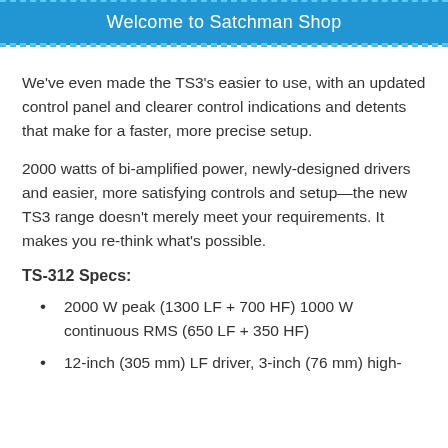Welcome to Satchman Shop
We've even made the TS3's easier to use, with an updated control panel and clearer control indications and detents that make for a faster, more precise setup.
2000 watts of bi-amplified power, newly-designed drivers and easier, more satisfying controls and setup—the new TS3 range doesn't merely meet your requirements. It makes you re-think what's possible.
TS-312 Specs:
2000 W peak (1300 LF + 700 HF) 1000 W continuous RMS (650 LF + 350 HF)
12-inch (305 mm) LF driver, 3-inch (76 mm) high-